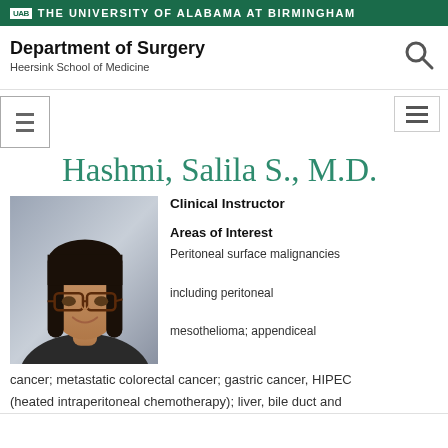UAB THE UNIVERSITY OF ALABAMA AT BIRMINGHAM
Department of Surgery
Heersink School of Medicine
Hashmi, Salila S., M.D.
[Figure (photo): Headshot photo of Dr. Salila S. Hashmi, a woman with long dark hair and glasses, wearing a dark jacket]
Clinical Instructor
Areas of Interest
Peritoneal surface malignancies including peritoneal mesothelioma; appendiceal cancer; metastatic colorectal cancer; gastric cancer, HIPEC (heated intraperitoneal chemotherapy); liver, bile duct and